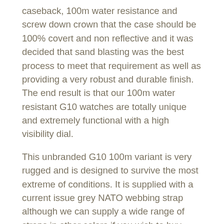caseback, 100m water resistance and screw down crown that the case should be 100% covert and non reflective and it was decided that sand blasting was the best process to meet that requirement as well as providing a very robust and durable finish. The end result is that our 100m water resistant G10 watches are totally unique and extremely functional with a high visibility dial.
This unbranded G10 100m variant is very rugged and is designed to survive the most extreme of conditions. It is supplied with a current issue grey NATO webbing strap although we can supply a wide range of straps in other colors if you wish to buy another variant as an additional strap. The back of the case bears various contract markings (which are unique to each watch) in addition to the serial number.
Specification: